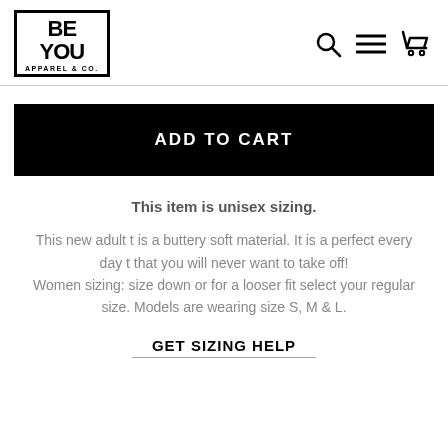[Figure (logo): BE YOU APPAREL & CO. logo in a black border box, bold black text]
[Figure (other): Navigation icons: search (magnifying glass), hamburger menu, and shopping cart]
ADD TO CART
This item is unisex sizing.
This new adult t is a buttery soft material. It is a perfect every day t that you will never want to take off!
Women sizing: size down or for a looser fit select your regular size. Models are wearing size S, M & L.
GET SIZING HELP